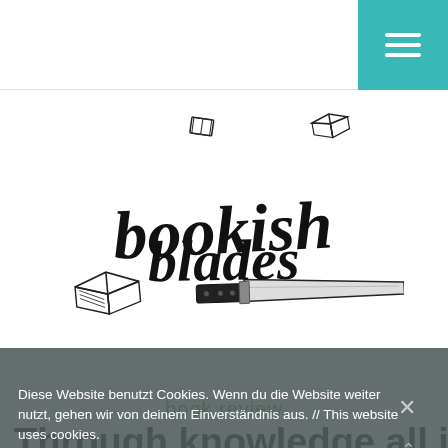Navigation bar with hamburger menu button
[Figure (logo): Bookish Blades logo — handwritten script text 'bookish blades' with illustrations of books and a kitchen knife]
book review
Through knowledge all is possible. | House of Earth and Blood | Review
Diese Website benutzt Cookies. Wenn du die Website weiter nutzt, gehen wir von deinem Einverständnis aus. // This website uses cookies.
OK   Nein / No   Datenschutzerklärung